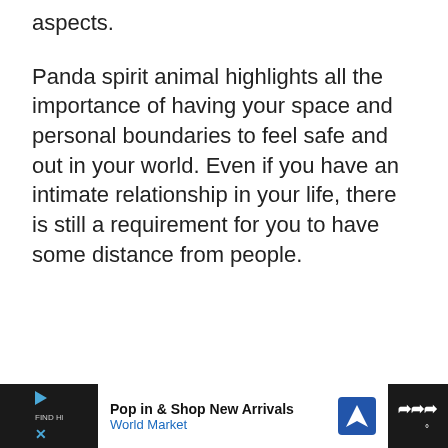aspects.
Panda spirit animal highlights all the importance of having your space and personal boundaries to feel safe and out in your world. Even if you have an intimate relationship in your life, there is still a requirement for you to have some distance from people.
[Figure (other): Advertisement banner for World Market: 'Pop in & Shop New Arrivals' with navigation arrow icon, flanked by dark sidebars containing media control icons and a WW logo]